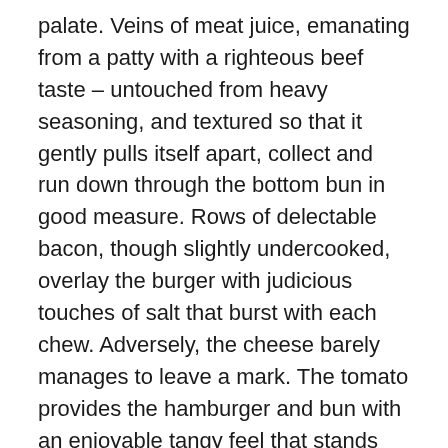palate. Veins of meat juice, emanating from a patty with a righteous beef taste – untouched from heavy seasoning, and textured so that it gently pulls itself apart, collect and run down through the bottom bun in good measure. Rows of delectable bacon, though slightly undercooked, overlay the burger with judicious touches of salt that burst with each chew. Adversely, the cheese barely manages to leave a mark. The tomato provides the hamburger and bun with an enjoyable tangy feel that stands solid for a single vegetable layer.
Then there's the sauce… this beautiful rich aioli mixture, a thick mayo-ey cream that is formed with a touch of black garlic as its essence, a sauce that binds to the sense of taste in luscious form. There just isn't enough of it in the burger… really. You see, without the bun all these ingredients would do a marvelous job, but it is the bun that